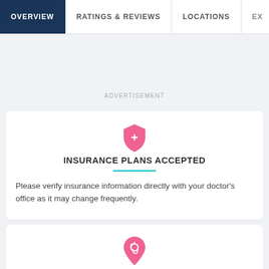OVERVIEW | RATINGS & REVIEWS | LOCATIONS | EX
ADVERTISEMENT
INSURANCE PLANS ACCEPTED
Please verify insurance information directly with your doctor's office as it may change frequently.
OTHER PROVIDERS AT THIS PRACTICE